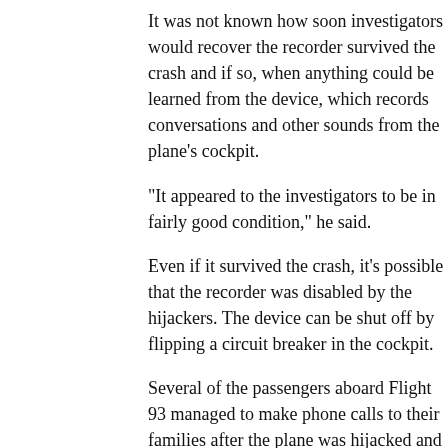It was not known how soon investigators would recover the recorder survived the crash and if so, when anything could be learned from the device, which records conversations and other sounds from the plane's cockpit.
"It appeared to the investigators to be in fairly good condition," he said.
Even if it survived the crash, it's possible that the recorder was disabled by the hijackers. The device can be shut off by flipping a circuit breaker in the cockpit.
Several of the passengers aboard Flight 93 managed to make phone calls to their families after the plane was hijacked and said they planned to try to regain control of the jetliner.
Several people, notably Republican U.S. Sens. Arlen Specter and Rick Santorum of Pennsylvania and U.S. Rep. John Murtha, said they believe the hijackers intended to dive the plane into a target in Washington, such as the White House or the U.S. Capitol.
The jetliner went down Tuesday in rural Shanksville, Pa. It had left Newark, N.J., for San Francisco. Radar showed the aircraft was heading over Cleveland when it abruptly turned and lost altitude and flying erratically toward Maryland.